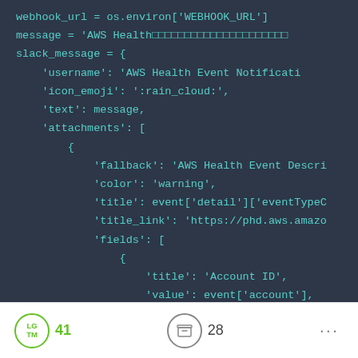[Figure (screenshot): Code snippet showing Python code for AWS Health Event Slack notification. Dark background with teal/cyan monospace text. Shows variables: webhook_url, message, slack_message dict with keys username, icon_emoji, text, attachments containing fallback, color, title, title_link, fields with Account ID field.]
LGTM 41  [archive icon] 28  ...